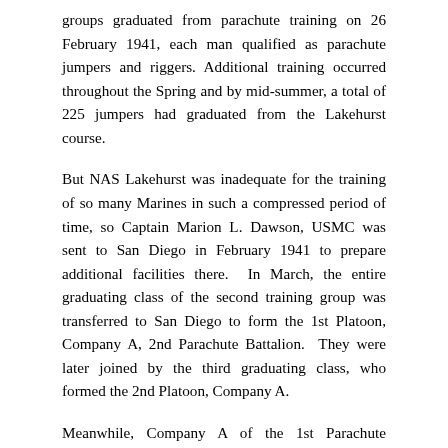groups graduated from parachute training on 26 February 1941, each man qualified as parachute jumpers and riggers. Additional training occurred throughout the Spring and by mid-summer, a total of 225 jumpers had graduated from the Lakehurst course.
But NAS Lakehurst was inadequate for the training of so many Marines in such a compressed period of time, so Captain Marion L. Dawson, USMC was sent to San Diego in February 1941 to prepare additional facilities there. In March, the entire graduating class of the second training group was transferred to San Diego to form the 1st Platoon, Company A, 2nd Parachute Battalion. They were later joined by the third graduating class, who formed the 2nd Platoon, Company A.
Meanwhile, Company A of the 1st Parachute Battalion was formed at Quantico, Virginia on 10 July 1941 and to avoid confusion while in the process of growing a new battalion, Company A of the 2nd Parachute Battalion (San Diego) was